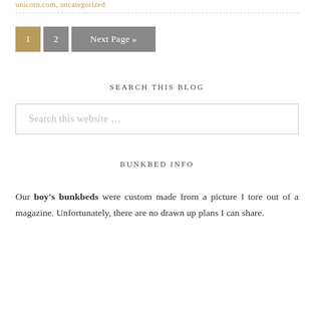unicorn.com, uncategorized
1  2  Next Page »
SEARCH THIS BLOG
Search this website …
BUNKBED INFO
Our boy's bunkbeds were custom made from a picture I tore out of a magazine. Unfortunately, there are no drawn up plans I can share.